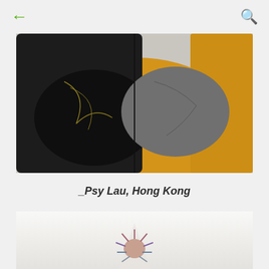← (back) and 🔍 (search)
[Figure (photo): Fashion editorial photo showing a person wearing a black jacket/top with textured yellow/mustard woven garment and grey bag, holding or wearing multiple bags against a grey background. Close-up torso shot.]
_Psy Lau, Hong Kong
[Figure (photo): Partially visible photo showing a white/light background with a figure or creature with spiky protrusions visible at the bottom of the frame, appearing to be a fashion or art editorial image.]